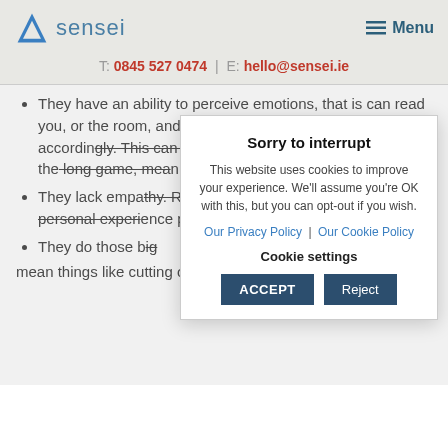sensei | Menu
T: 0845 527 0474 | E: hello@sensei.ie
They have an ability to perceive emotions, that is can read you, or the room, and adjust their behaviour, words or tone accordingly. This can help them manipulate situations to the... long game, me... you see the str... willingly malleal...
They lack empa... Rapport-buildin... across as robot... personal experi... playing a part.
They do those b... mean things like cutting open bodies, dead (pathologies,
[Figure (screenshot): Cookie consent modal dialog with title 'Sorry to interrupt', body text about cookies, links to Privacy Policy and Cookie Policy, Cookie settings label, and ACCEPT / Reject buttons.]